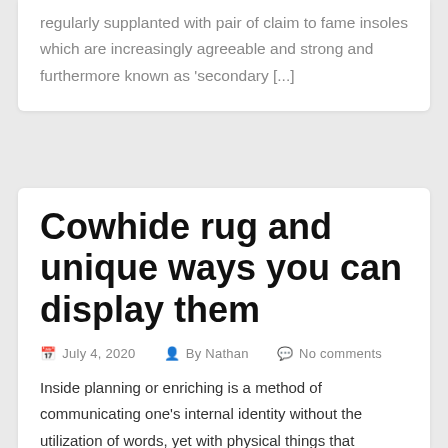regularly supplanted with pair of claim to fame insoles which are increasingly agreeable and strong and furthermore known as 'secondary [...]
Cowhide rug and unique ways you can display them
July 4, 2020   By Nathan   No comments
Inside planning or enriching is a method of communicating one's internal identity without the utilization of words, yet with physical things that